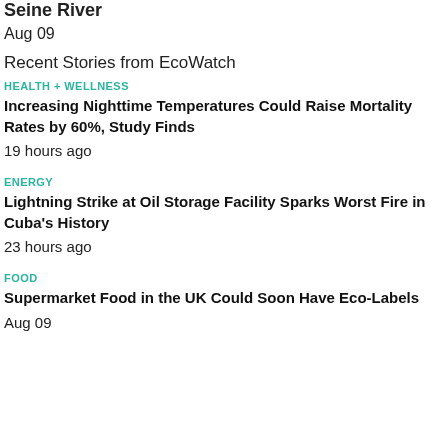Seine River
Aug 09
Recent Stories from EcoWatch
HEALTH + WELLNESS
Increasing Nighttime Temperatures Could Raise Mortality Rates by 60%, Study Finds
19 hours ago
ENERGY
Lightning Strike at Oil Storage Facility Sparks Worst Fire in Cuba's History
23 hours ago
FOOD
Supermarket Food in the UK Could Soon Have Eco-Labels
Aug 09